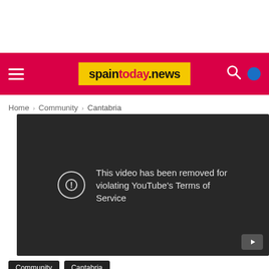spaintoday.news
Home › Community › Cantabria
[Figure (screenshot): Embedded YouTube video player showing error message: 'This video has been removed for violating YouTube's Terms of Service']
Community
Cantabria